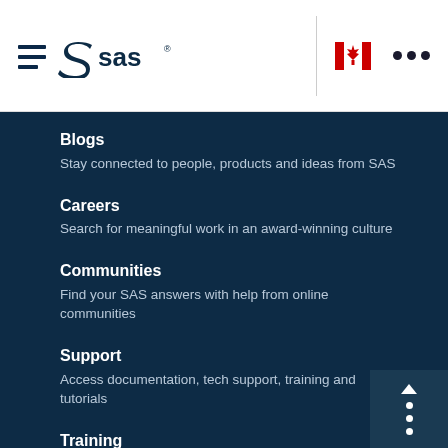SAS navigation header with hamburger menu, SAS logo, Canadian flag icon, and three-dot menu
Blogs
Stay connected to people, products and ideas from SAS
Careers
Search for meaningful work in an award-winning culture
Communities
Find your SAS answers with help from online communities
Support
Access documentation, tech support, training and tutorials
Training
Learn top-rated analytics skills required in today's market